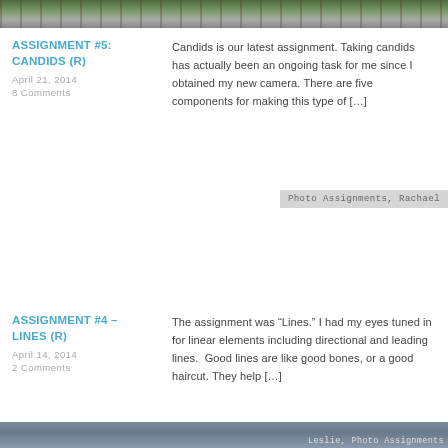[Figure (photo): Partial top photo showing outdoor scene with people and green/red clothing on grass]
ASSIGNMENT #5: CANDIDS (R)
April 21, 2014
8 Comments
Candids is our latest assignment. Taking candids has actually been an ongoing task for me since I obtained my new camera. There are five components for making this type of [...]
Photo Assignments, Rachael
ASSIGNMENT #4 – LINES (R)
April 14, 2014
2 Comments
The assignment was “Lines.” I had my eyes tuned in for linear elements including directional and leading lines.  Good lines are like good bones, or a good haircut. They help [...]
[Figure (photo): Partial bottom photo showing outdoor scene with rails/fence, tag reading Leslie, Photo Assignments]